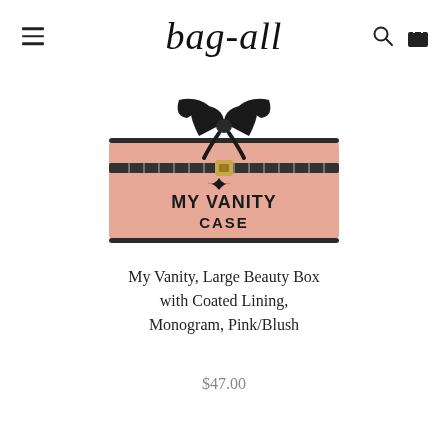bag-all
[Figure (photo): Pink/blush vanity case cosmetic bag with black zipper, black bow ribbon on top, and 'MY VANITY CASE' text printed on the front in black bold letters.]
My Vanity, Large Beauty Box with Coated Lining, Monogram, Pink/Blush
$47.00